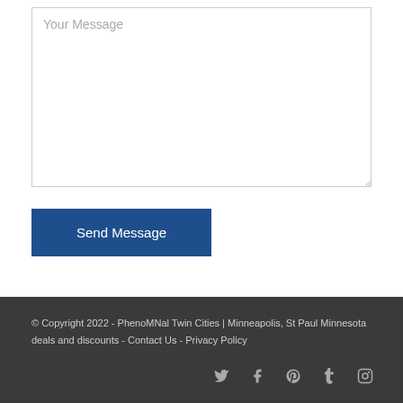[Figure (screenshot): A textarea input field with placeholder text 'Your Message' and a resize handle at the bottom right corner.]
Send Message
© Copyright 2022 - PhenoMNal Twin Cities | Minneapolis, St Paul Minnesota deals and discounts - Contact Us - Privacy Policy